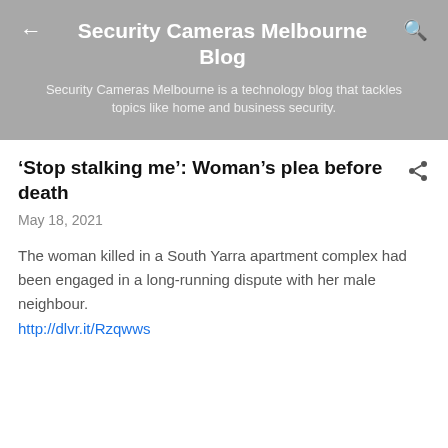Security Cameras Melbourne Blog
Security Cameras Melbourne is a technology blog that tackles topics like home and business security.
‘Stop stalking me’: Woman’s plea before death
May 18, 2021
The woman killed in a South Yarra apartment complex had been engaged in a long-running dispute with her male neighbour.
http://dlvr.it/Rzqwws